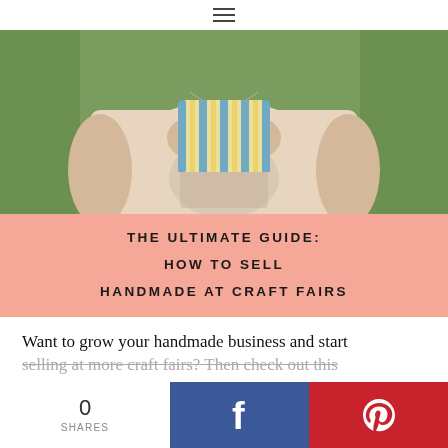≡
[Figure (photo): Close-up photo of a person in a light cream t-shirt holding a small striped fabric pouch with both hands. A floral patterned background is visible behind them.]
THE ULTIMATE GUIDE: HOW TO SELL HANDMADE AT CRAFT FAIRS
Want to grow your handmade business and start selling at more craft fairs? Then check out this
0 SHARES